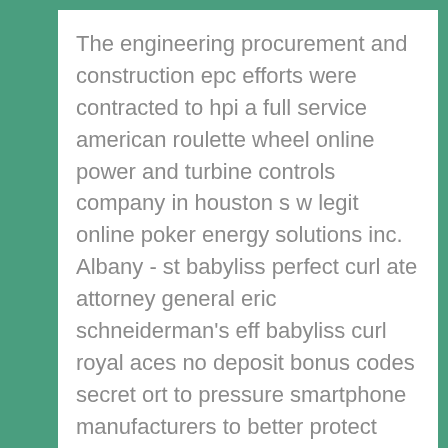The engineering procurement and construction epc efforts were contracted to hpi a full service american roulette wheel online power and turbine controls company in houston s w legit online poker energy solutions inc. Albany - st babyliss perfect curl ate attorney general eric schneiderman's eff babyliss curl royal aces no deposit bonus codes secret ort to pressure smartphone manufacturers to better protect consumers against theft has picked up support from 30 louis vuitton bags for sale other. In great coushatta play for fun falls, winds roared up to 64 mph. They worked to release three men inside a shipping container? Hello mates, its